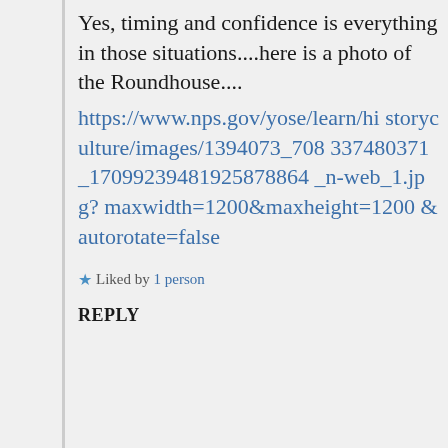Yes, timing and confidence is everything in those situations....here is a photo of the Roundhouse....
https://www.nps.gov/yose/learn/historyculture/images/1394073_708337480371_17099239481925878864_n-web_1.jpg?maxwidth=1200&maxheight=1200&autorotate=false
★ Liked by 1 person
REPLY